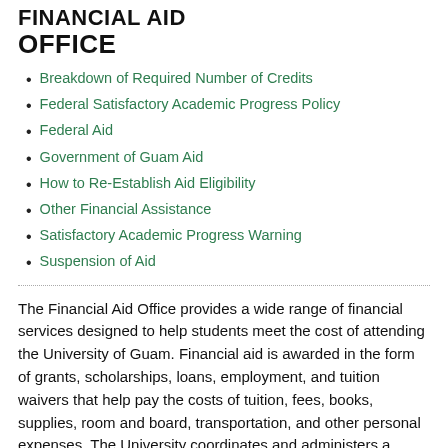FINANCIAL AID OFFICE
Breakdown of Required Number of Credits
Federal Satisfactory Academic Progress Policy
Federal Aid
Government of Guam Aid
How to Re-Establish Aid Eligibility
Other Financial Assistance
Satisfactory Academic Progress Warning
Suspension of Aid
The Financial Aid Office provides a wide range of financial services designed to help students meet the cost of attending the University of Guam. Financial aid is awarded in the form of grants, scholarships, loans, employment, and tuition waivers that help pay the costs of tuition, fees, books, supplies, room and board, transportation, and other personal expenses. The University coordinates and administers a variety of federal, state, private, and institutional programs (each with different regulations, requirements, procedures, and forms). Information on the various types of financial assistance available, applications